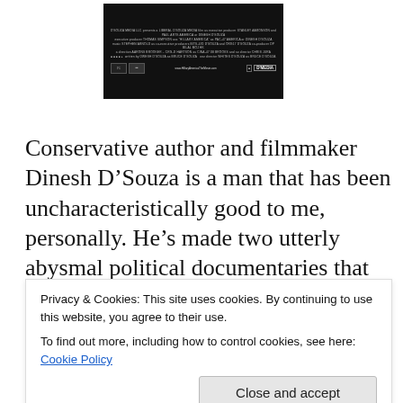[Figure (screenshot): Movie poster/credits screenshot for a political documentary film, dark background with small white/grey credits text and website URL www.HillaryAmericaTheMovie.com visible at the bottom]
Conservative author and filmmaker Dinesh D’Souza is a man that has been uncharacteristically good to me, personally. He’s made two utterly abysmal political documentaries that are hatchet jobs and were my worst films of 2012 and 2014. However, the man has been a boon for me as far as my own exposure. My reviews for his 2012 and 2014 polemics exploded and became e-mail forwards. They were quoted in message boards
Privacy & Cookies: This site uses cookies. By continuing to use this website, you agree to their use.
To find out more, including how to control cookies, see here: Cookie Policy
Close and accept
D'Souza’s next would-be documentary feature but I knew